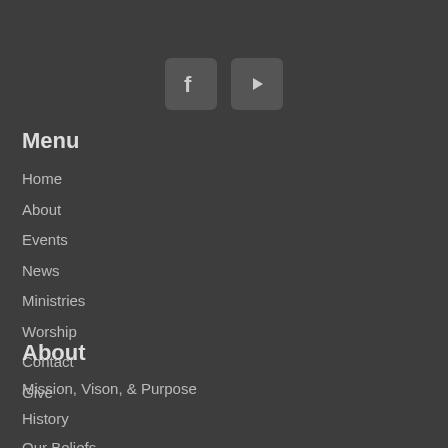[Figure (illustration): Two social media icon buttons side by side: a Facebook icon (f logo) and a YouTube icon (play button), both with rounded square dark grey backgrounds]
Menu
Home
About
Events
News
Ministries
Worship
Contact
Give
About
Mission, Vison, & Purpose
History
Our Beliefs